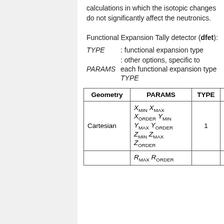calculations in which the isotopic changes do not significantly affect the neutronics.
Functional Expansion Tally detector (dfet):
TYPE : functional expansion type
PARAMS : other options, specific to each functional expansion type TYPE
| Geometry | PARAMS | TYPE | Descri |
| --- | --- | --- | --- |
| Cartesian | X_MIN X_MAX X_ORDER Y_MIN Y_MAX Y_ORDER Z_MIN Z_MAX Z_ORDER | 1 | Legend only |
|  | R_MAX R_ORDER |  |  |